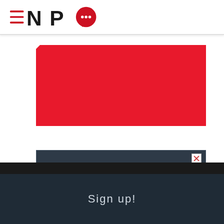NPQ logo with hamburger menu
[Figure (illustration): Red banner/image area with folded corner at top-left]
[Figure (infographic): Advertisement box with dark blue-grey background. Title: 'Tools for Managing Employee Engagement'. Body: 'Designed to Help Nonprofit Employers Strengthen Their Engagement Strategies While Fostering a Work Culture Where Employees Feel Valued, Involved, and Supported.']
We are using cookies to give you the best experience on our website.
Sign up!